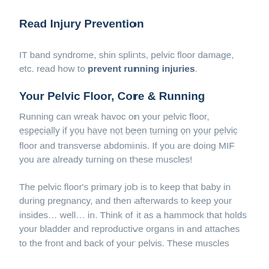Read Injury Prevention
IT band syndrome, shin splints, pelvic floor damage, etc. read how to prevent running injuries.
Your Pelvic Floor, Core & Running
Running can wreak havoc on your pelvic floor, especially if you have not been turning on your pelvic floor and transverse abdominis. If you are doing MIF you are already turning on these muscles!
The pelvic floor's primary job is to keep that baby in during pregnancy, and then afterwards to keep your insides… well… in. Think of it as a hammock that holds your bladder and reproductive organs in and attaches to the front and back of your pelvis. These muscles